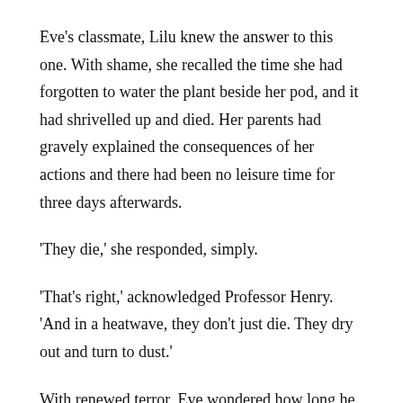Eve's classmate, Lilu knew the answer to this one. With shame, she recalled the time she had forgotten to water the plant beside her pod, and it had shrivelled up and died. Her parents had gravely explained the consequences of her actions and there had been no leisure time for three days afterwards.
'They die,' she responded, simply.
'That's right,' acknowledged Professor Henry. 'And in a heatwave, they don't just die. They dry out and turn to dust.'
With renewed terror, Eve wondered how long he was going